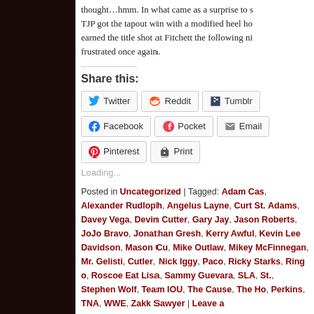thought…hmm. In what came as a surprise to s... TJP got the tapout win with a modified heel ho... earned the title shot at Fitchett the following ni... frustrated once again.
Share this:
Twitter | Reddit | Tumblr | Facebook | Pocket | Email | Pinterest | Print
Loading...
Posted in Uncategorized | Tagged: Adam Cas..., Alexander Rudloph, Angelus Layne, Curt St... Adams, Davey Vega, Devin Cutter, Gary Jay... Jason Roberts, JoJo Bravo, Jonathan Gresh... Kerry Awful, Kevin Lee Davidson, Mason Cu... Mike Outlaw, Mikey McFinnegan, Mr. Gelisti... Cutler, Nick Iggy, Paco, Ricky Starks, Ring o... Roscoe Eat Lisa, Sammy Guevara, SLA, St... Stephen Wolf, Team IOU, The Cause, The Ho... Perkins, TNA, WWE, Zakk Sawyer | Leave a...